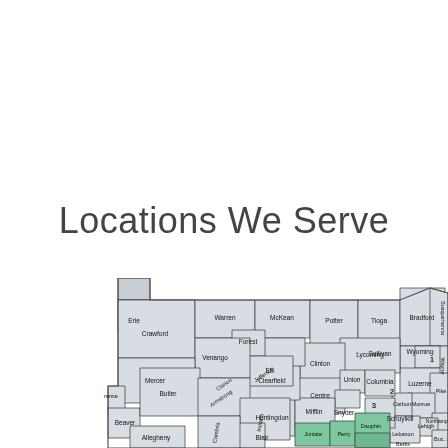Locations We Serve
[Figure (map): Map of Pennsylvania counties with some counties highlighted in green in the south-central region. County names labeled include Erie, Crawford, Warren, McKean, Potter, Tioga, Bradford, Susquehanna, Wayne, Mercer, Venango, Forest, Clarion, Jefferson, Elk, Clinton, Lycoming, Sullivan, Wyoming, Luzerne, Pike, Monroe, Northampton, Butler, Armstrong, Clearfield, Centre, Union, Columbia, Carbon, Schuylkill, Lehigh, Beaver, Indiana, Cambria, Huntingdon, Snyder, Mifflin, Juniata, Perry, Dauphin, Lebanon, Berks, Bucks, Allegheny, Blair, Lawrence, and numbered regions 1, 2, 3.]